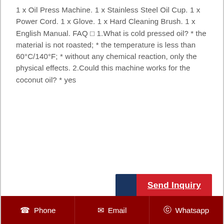1 x Oil Press Machine. 1 x Stainless Steel Oil Cup. 1 x Power Cord. 1 x Glove. 1 x Hard Cleaning Brush. 1 x English Manual. FAQ □ 1.What is cold pressed oil? * the material is not roasted; * the temperature is less than 60°C/140°F; * without any chemical reaction, only the physical effects. 2.Could this machine works for the coconut oil? * yes
[Figure (screenshot): Send Inquiry button with blue and red sections]
[Figure (photo): 110V Commercial Automatic Oil Press Stainless Steel machine product image in teal/green color]
110V Commercial Automatic Oil Press Stainless Steel
Phone   Email   Whatsapp